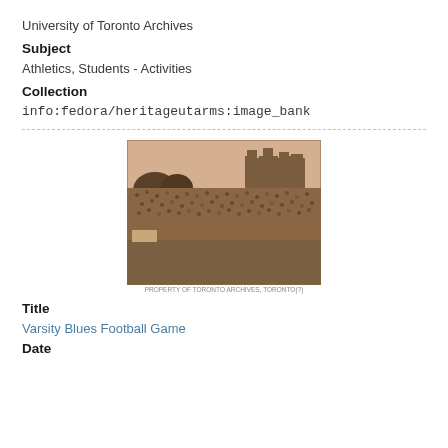University of Toronto Archives
Subject
Athletics, Students - Activities
Collection
info:fedora/heritageutarms:image_bank
[Figure (photo): Sepia-toned historical photograph of Varsity Blues football game with large crowd in stands and a stone building visible in the background]
PROPERTY OF TORONTO ARCHIVES, TORONTO(?)
Title
Varsity Blues Football Game
Date